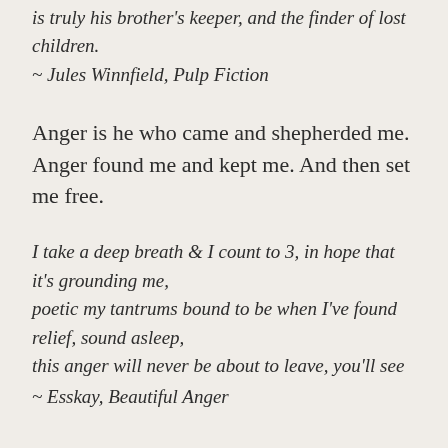is truly his brother's keeper, and the finder of lost children.
~ Jules Winnfield, Pulp Fiction
Anger is he who came and shepherded me. Anger found me and kept me. And then set me free.
I take a deep breath & I count to 3, in hope that it's grounding me,
poetic my tantrums bound to be when I've found relief, sound asleep,
this anger will never be about to leave, you'll see
~ Esskay, Beautiful Anger